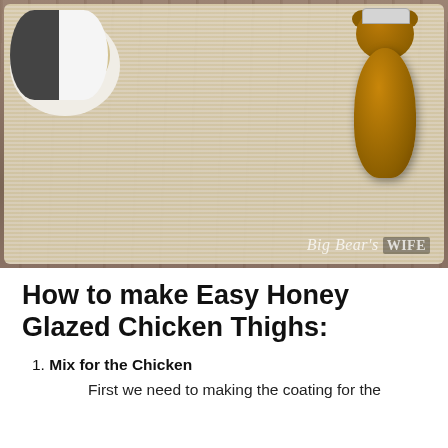[Figure (photo): Overhead flat-lay photo of ingredients for honey glazed chicken thighs on a rustic wood surface: white trays, a bowl of breadcrumbs, a bowl with a raw egg, a bear-shaped honey bottle, a bowl of paprika, a bowl of garlic powder, and a bowl of salt and pepper. Watermark reads 'Big Bear's WIFE'.]
How to make Easy Honey Glazed Chicken Thighs:
Mix for the Chicken
First we need to making the coating for the